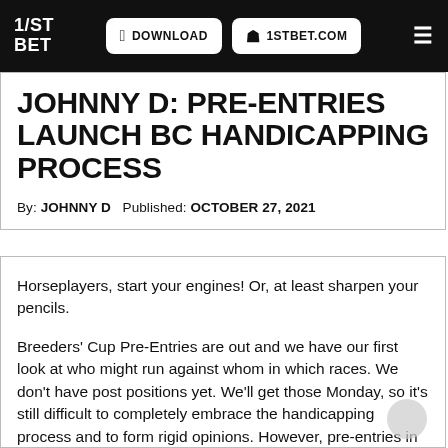1/ST BET | DOWNLOAD | 1STBET.COM
JOHNNY D: PRE-ENTRIES LAUNCH BC HANDICAPPING PROCESS
By: JOHNNY D   Published: OCTOBER 27, 2021
Horseplayers, start your engines! Or, at least sharpen your pencils.
Breeders' Cup Pre-Entries are out and we have our first look at who might run against whom in which races. We don't have post positions yet. We'll get those Monday, so it's still difficult to completely embrace the handicapping process and to form rigid opinions. However, pre-entries in hand, players desirous of a